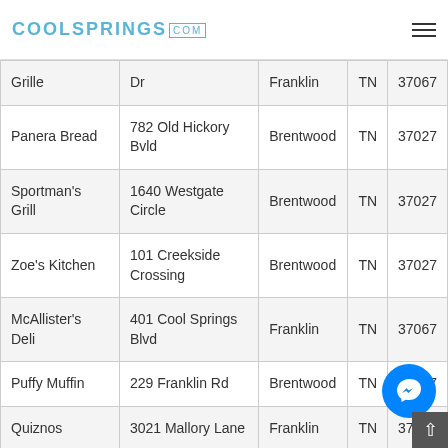COOLSPRINGS.com
| Name | Address | City | State | Zip |
| --- | --- | --- | --- | --- |
| Grille | Dr | Franklin | TN | 37067 |
| Panera Bread | 782 Old Hickory Bvld | Brentwood | TN | 37027 |
| Sportman's Grill | 1640 Westgate Circle | Brentwood | TN | 37027 |
| Zoe's Kitchen | 101 Creekside Crossing | Brentwood | TN | 37027 |
| McAllister's Deli | 401 Cool Springs Blvd | Franklin | TN | 37067 |
| Puffy Muffin | 229 Franklin Rd | Brentwood | TN | 37067 |
| Quiznos | 3021 Mallory Lane | Franklin | TN | 37067 |